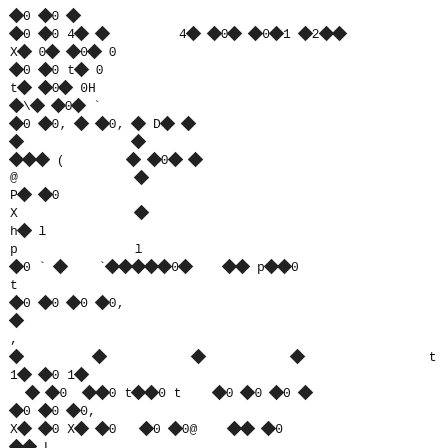corrupted/encoded text content with diamond replacement characters and mixed ASCII symbols
Lines containing: diamond 4diamond, 40diamond0diamond diamond1diamond2diamond, diamond8 X
X0diamond0diamond0
diamond0diamond1 t 0
t 0H
diamond\0diamond0 `
diamond0 diamond0, 0 diamond0, 0 D0 diamond
0       diamond
diamond00 (   0 diamond0 diamond
@       diamond
P0 diamond0
X        diamond
h0 l
p        l
diamond0 ` diamond   `0000diamond0   00 p0 diamond0
t
diamond0 diamond0 diamond0 diamond0,
0
,
diamond    diamond     diamond     diamond      t         8
10 diamond0 10
0 diamond0   0diamond0 t diamond0 t    diamond0 diamond0 diamond0 diamond
diamond0 diamond0 diamond0,
X0 diamond0 X0 diamond0   diamond0 diamond0@    00 diamond0
00 L
diamond
diamond
diamond
diamond     diamond0 diamond`   $0    diamond